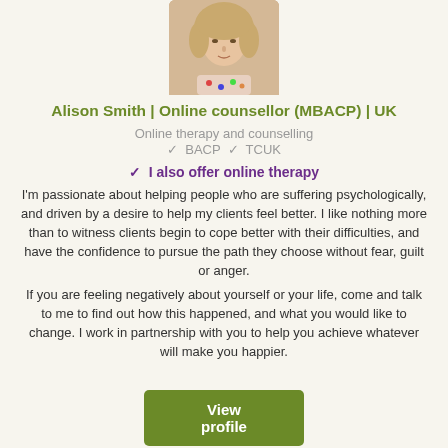[Figure (photo): Headshot photo of Alison Smith, a woman with blonde hair, centered at the top of the card.]
Alison Smith | Online counsellor (MBACP) | UK
Online therapy and counselling
✓ BACP ✓ TCUK
✓ I also offer online therapy
I'm passionate about helping people who are suffering psychologically, and driven by a desire to help my clients feel better. I like nothing more than to witness clients begin to cope better with their difficulties, and have the confidence to pursue the path they choose without fear, guilt or anger.
If you are feeling negatively about yourself or your life, come and talk to me to find out how this happened, and what you would like to change. I work in partnership with you to help you achieve whatever will make you happier.
View profile